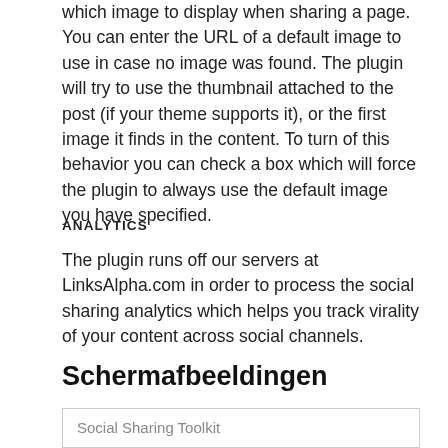which image to display when sharing a page. You can enter the URL of a default image to use in case no image was found. The plugin will try to use the thumbnail attached to the post (if your theme supports it), or the first image it finds in the content. To turn of this behavior you can check a box which will force the plugin to always use the default image you have specified.
ANALYTICS
The plugin runs off our servers at LinksAlpha.com in order to process the social sharing analytics which helps you track virality of your content across social channels.
Schermafbeeldingen
Social Sharing Toolkit